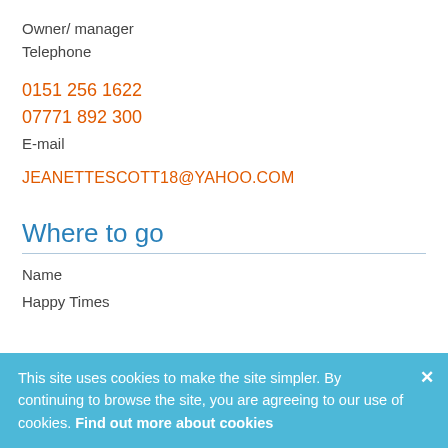Owner/ manager
Telephone
0151 256 1622
07771 892 300
E-mail
JEANETTESCOTT18@YAHOO.COM
Where to go
Name
Happy Times
This site uses cookies to make the site simpler. By continuing to browse the site, you are agreeing to our use of cookies. Find out more about cookies